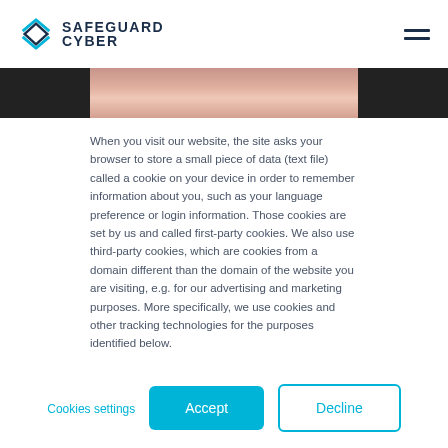Safeguard Cyber
[Figure (photo): Partial photo of a person's face (woman with brown hair and pink/red lips) shown as a horizontal strip across the page, flanked by dark/black areas on each side.]
When you visit our website, the site asks your browser to store a small piece of data (text file) called a cookie on your device in order to remember information about you, such as your language preference or login information. Those cookies are set by us and called first-party cookies. We also use third-party cookies, which are cookies from a domain different than the domain of the website you are visiting, e.g. for our advertising and marketing purposes. More specifically, we use cookies and other tracking technologies for the purposes identified below.
If you decline, your information won't be tracked when you visit this website. A single cookie will be used in your browser to remember your preference not to be tracked.
Cookies settings
Accept
Decline